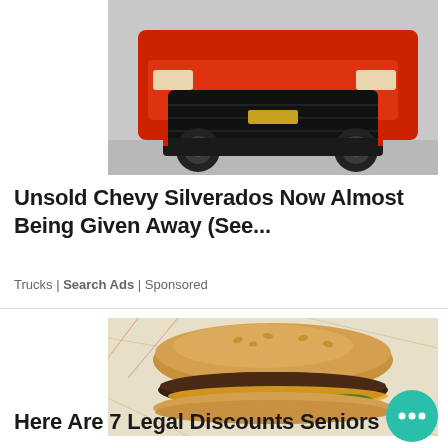[Figure (photo): Front view of a red Chevrolet Silverado pickup truck with black grille and black wheels, photographed in a parking area]
Unsold Chevy Silverados Now Almost Being Given Away (See...
Trucks | Search Ads | Sponsored
[Figure (photo): A cheeseburger with double beef patty, cheese, and pickles on a sesame bun, placed on patterned fast food wrapper paper]
Here Are 7 Legal Discounts Seniors